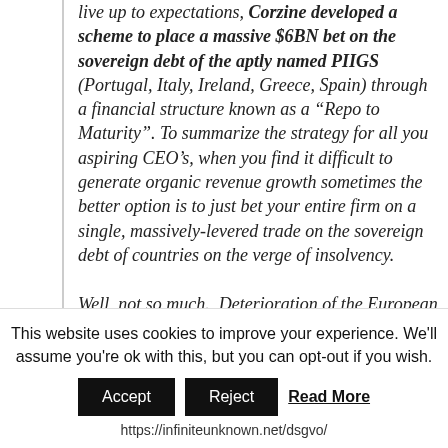live up to expectations, Corzine developed a scheme to place a massive $6BN bet on the sovereign debt of the aptly named PIIGS (Portugal, Italy, Ireland, Greece, Spain) through a financial structure known as a “Repo to Maturity”. To summarize the strategy for all you aspiring CEO’s, when you find it difficult to generate organic revenue growth sometimes the better option is to just bet your entire firm on a single, massively-levered trade on the sovereign debt of countries on the verge of insolvency.

Well, not so much. Deterioration of the European economies in mid-2011 resulted
This website uses cookies to improve your experience. We’ll assume you’re ok with this, but you can opt-out if you wish. Accept Reject Read More https://infiniteunknown.net/dsgvo/